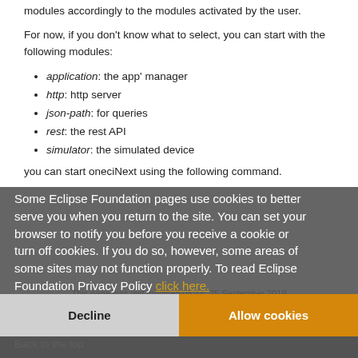modules accordingly to the modules activated by the user.
For now, if you don't know what to select, you can start with the following modules:
application: the app' manager
http: http server
json-path: for queries
rest: the rest API
simulator: the simulated device
you can start oneciNext using the following command.
Some Eclipse Foundation pages use cookies to better serve you when you return to the site. You can set your browser to notify you before you receive a cookie or turn off cookies. If you do so, however, some areas of some sites may not function properly. To read Eclipse Foundation Privacy Policy click here.
This page was last modified 05:44, 25 September 2019 by Shuar Li. Based on work by Etienne Gandrille.
Back to the top